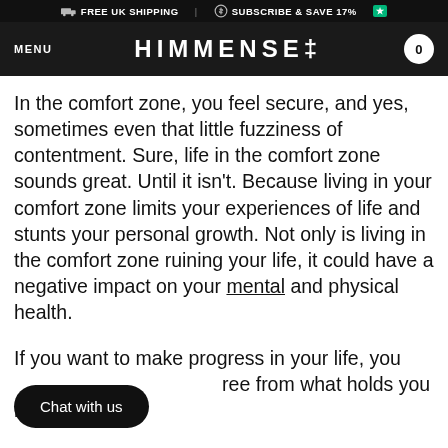FREE UK SHIPPING   SUBSCRIBE & SAVE 17%
MENU   HIMMENSE‡   0
In the comfort zone, you feel secure, and yes, sometimes even that little fuzziness of contentment. Sure, life in the comfort zone sounds great. Until it isn't. Because living in your comfort zone limits your experiences of life and stunts your personal growth. Not only is living in the comfort zone ruining your life, it could have a negative impact on your mental and physical health.
If you want to make progress in your life, you [need to break] free from what holds you back.
Chat with us